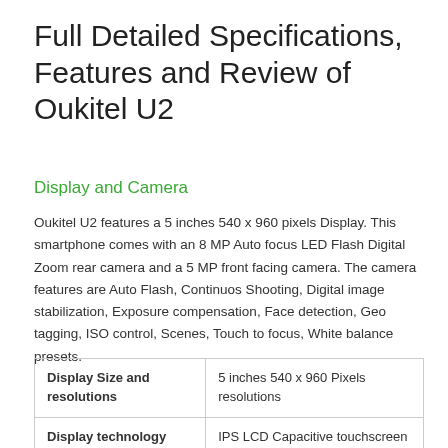Full Detailed Specifications, Features and Review of Oukitel U2
Display and Camera
Oukitel U2 features a 5 inches 540 x 960 pixels Display. This smartphone comes with an 8 MP Auto focus LED Flash Digital Zoom rear camera and a 5 MP front facing camera. The camera features are Auto Flash, Continuos Shooting, Digital image stabilization, Exposure compensation, Face detection, Geo tagging, ISO control, Scenes, Touch to focus, White balance presets.
| Display Size and resolutions | 5 inches 540 x 960 Pixels resolutions |
| Display technology | IPS LCD Capacitive touchscreen |